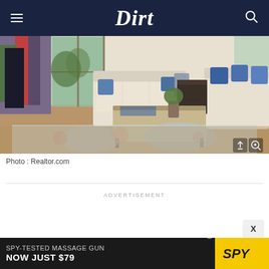Dirt
[Figure (photo): Interior living room photo showing white sofas, blue decorative pillows, a wooden coffee table, floral patterned rug, and curtains with red and blue stripes near french doors. Photo sourced from Realtor.com.]
Photo : Realtor.com
ADVERTISEMENT
[Figure (screenshot): Advertisement banner: SPY-TESTED MASSAGE GUN NOW JUST $79 with SPY logo on yellow background]